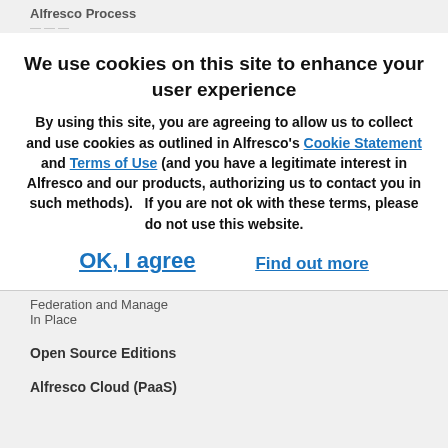Alfresco Process
We use cookies on this site to enhance your user experience
By using this site, you are agreeing to allow us to collect and use cookies as outlined in Alfresco’s Cookie Statement and Terms of Use (and you have a legitimate interest in Alfresco and our products, authorizing us to contact you in such methods).   If you are not ok with these terms, please do not use this website.
OK, I agree
Find out more
Federation and Manage In Place
Open Source Editions
Alfresco Cloud (PaaS)